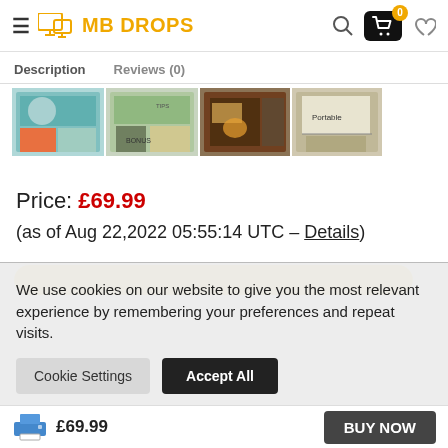MB DROPS
Description   Reviews (0)
[Figure (screenshot): Product thumbnail images — four small product photos in a 2x2 grid]
Price: £69.99
(as of Aug 22,2022 05:55:14 UTC – Details)
We use cookies on our website to give you the most relevant experience by remembering your preferences and repeat visits.
Cookie Settings   Accept All
£69.99   BUY NOW